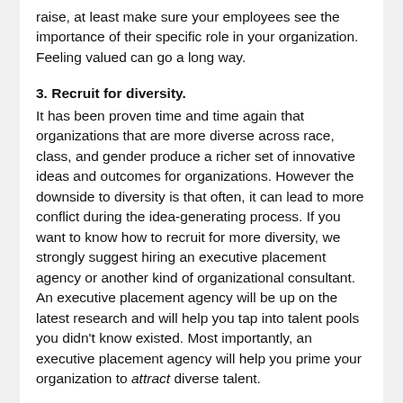raise, at least make sure your employees see the importance of their specific role in your organization. Feeling valued can go a long way.
3. Recruit for diversity.
It has been proven time and time again that organizations that are more diverse across race, class, and gender produce a richer set of innovative ideas and outcomes for organizations. However the downside to diversity is that often, it can lead to more conflict during the idea-generating process. If you want to know how to recruit for more diversity, we strongly suggest hiring an executive placement agency or another kind of organizational consultant. An executive placement agency will be up on the latest research and will help you tap into talent pools you didn't know existed. Most importantly, an executive placement agency will help you prime your organization to attract diverse talent.
4. Solicit formal feedback.
We're not just talking about the perfunctory quarterly reviews when an employee is put on the spot and given their compliment sandwich with an opportunity to comment at